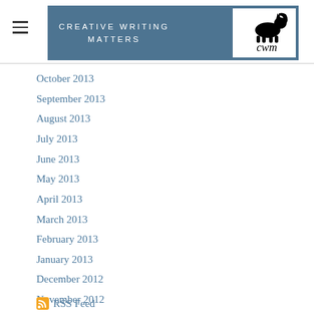CREATIVE WRITING MATTERS
October 2013
September 2013
August 2013
July 2013
June 2013
May 2013
April 2013
March 2013
February 2013
January 2013
December 2012
November 2012
October 2012
September 2012
August 2012
RSS Feed